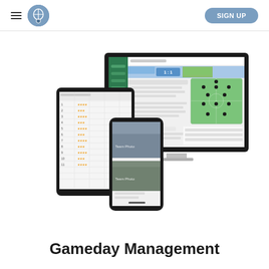Menu | Logo | SIGN UP
[Figure (screenshot): Screenshot of a sports management platform shown on desktop monitor, tablet, and smartphone devices. The monitor shows a gameday management interface with a soccer field formation diagram, team details, and match score. The tablet shows a player roster/statistics grid. The smartphone shows team photos.]
Gameday Management